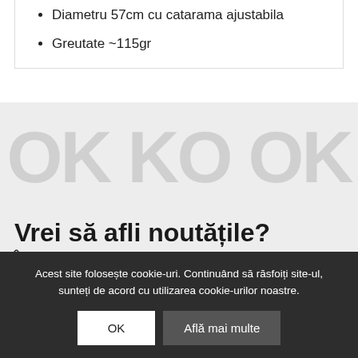Diametru 57cm cu catarama ajustabila
Greutate ~115gr
[Figure (other): Watermark / background decorative text area]
Vrei să afli noutățile?
Înscrie-te la newsletter-ul nostru
Nume
E-mail
Acest site folosește cookie-uri. Continuând să răsfoiți site-ul, sunteți de acord cu utilizarea cookie-urilor noastre.
OK
Află mai multe